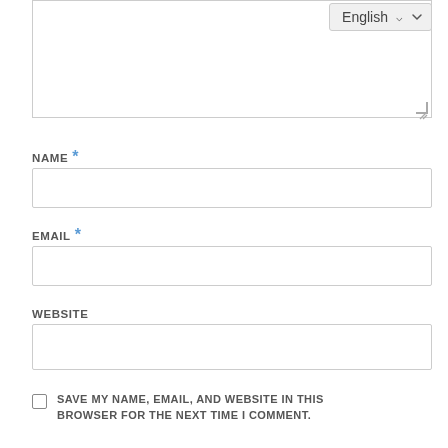[Figure (screenshot): A web comment form showing a textarea at the top with an English language selector, followed by NAME, EMAIL, WEBSITE input fields with labels, and a checkbox for saving browser info.]
NAME *
EMAIL *
WEBSITE
SAVE MY NAME, EMAIL, AND WEBSITE IN THIS BROWSER FOR THE NEXT TIME I COMMENT.